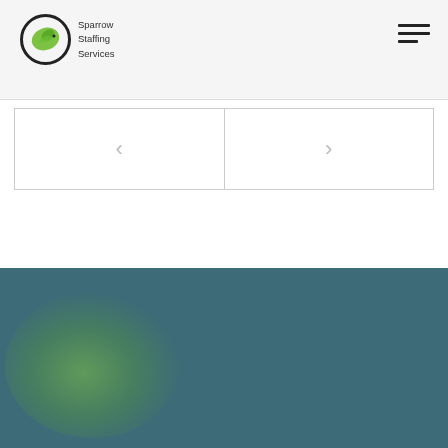Sparrow Staffing Services
[Figure (screenshot): Navigation carousel with left and right arrow buttons]
[Figure (illustration): Teal/dark blue-green background section with a soft green radial glow in the lower left area]